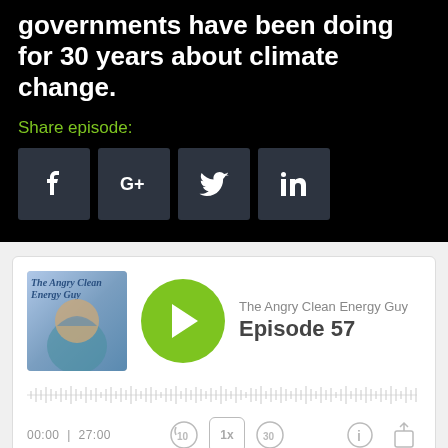governments have been doing for 30 years about climate change.
Share episode:
[Figure (screenshot): Social share buttons: Facebook, Google+, Twitter, LinkedIn]
[Figure (screenshot): Podcast player card: The Angry Clean Energy Guy, Episode 57, with play button, waveform, time 00:00 / 27:00, playback controls]
[Figure (screenshot): Green icon buttons row at bottom]